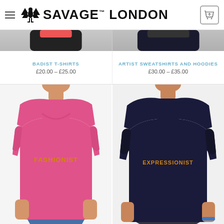SAVAGE LONDON
BADIST T-SHIRTS £20.00 – £25.00
ARTIST SWEATSHIRTS AND HOODIES £30.00 – £35.00
[Figure (photo): Woman wearing pink t-shirt with text FASHIONIST in gold lettering]
[Figure (photo): Man wearing dark navy t-shirt with text EXPRESSIONIST in gold lettering]